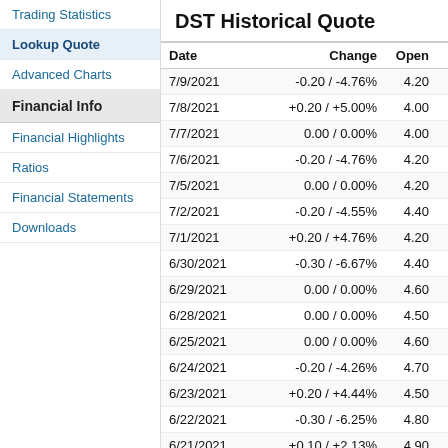Trading Statistics
Lookup Quote
Advanced Charts
Financial Info
Financial Highlights
Ratios
Financial Statements
Downloads
DST Historical Quote
| Date | Change | Open | High | L |
| --- | --- | --- | --- | --- |
| 7/9/2021 | -0.20 / -4.76% | 4.20 | 4.20 | 3. |
| 7/8/2021 | +0.20 / +5.00% | 4.00 | 4.20 | 4. |
| 7/7/2021 | 0.00 / 0.00% | 4.00 | 4.10 | 3. |
| 7/6/2021 | -0.20 / -4.76% | 4.20 | 4.20 | 4. |
| 7/5/2021 | 0.00 / 0.00% | 4.20 | 4.20 | 4. |
| 7/2/2021 | -0.20 / -4.55% | 4.40 | 4.40 | 4. |
| 7/1/2021 | +0.20 / +4.76% | 4.20 | 4.40 | 4. |
| 6/30/2021 | -0.30 / -6.67% | 4.40 | 4.50 | 4. |
| 6/29/2021 | 0.00 / 0.00% | 4.60 | 4.60 | 4. |
| 6/28/2021 | 0.00 / 0.00% | 4.50 | 4.60 | 4. |
| 6/25/2021 | 0.00 / 0.00% | 4.60 | 4.60 | 4. |
| 6/24/2021 | -0.20 / -4.26% | 4.70 | 4.70 | 4. |
| 6/23/2021 | +0.20 / +4.44% | 4.50 | 4.80 | 4. |
| 6/22/2021 | -0.30 / -6.25% | 4.80 | 4.90 | 4. |
| 6/21/2021 | +0.10 / +2.13% | 4.90 | 5.10 | 4. |